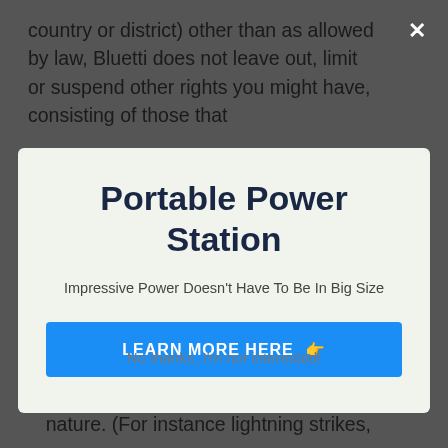country or district) other than as allowed by law, Bluetti does not leave out, limit or suspend other rights you might have, consisting of those that
Portable Power Station
Impressive Power Doesn't Have To Be In Big Size
LEARN MORE HERE 👉
No thanks, I'm not interested!
Misused/abused/modified by accident/damaged as a result of acts of nature. (For instance lightning strikes,